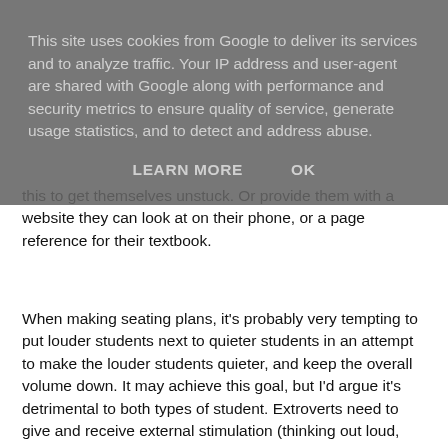This site uses cookies from Google to deliver its services and to analyze traffic. Your IP address and user-agent are shared with Google along with performance and security metrics to ensure quality of service, generate usage statistics, and to detect and address abuse.
LEARN MORE   OK
this to get themselves unstuck. Or provide them with a website they can look at on their phone, or a page reference for their textbook.
When making seating plans, it's probably very tempting to put louder students next to quieter students in an attempt to make the louder students quieter, and keep the overall volume down. It may achieve this goal, but I'd argue it's detrimental to both types of student. Extroverts need to give and receive external stimulation (thinking out loud, talking through their reasoning) and introverts need to have as little external stimulation as possible. Therefore it makes most sense to sit introverts with introverts and extroverts with extroverts. You might say, "---- is so quiet, I should make ----- sit next to her to try and bring her out of her shell a bit". If